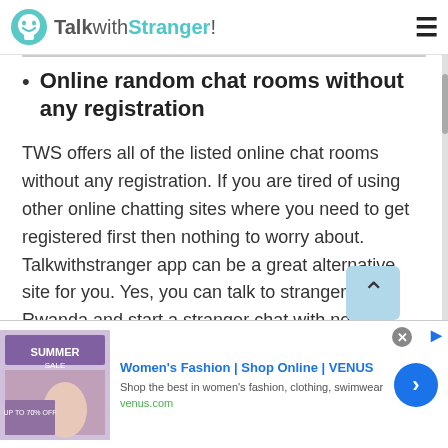TalkwithStranger!
Online random chat rooms without any registration
TWS offers all of the listed online chat rooms without any registration. If you are tired of using other online chatting sites where you need to get registered first then nothing to worry about. Talkwithstranger app can be a great alternative site for you. Yes, you can talk to strangers in Rwanda and start a stranger chat with no login chat rooms. TWS specifically designed their no login chat rooms for users who have a busy life schedule. In fact, we all
[Figure (screenshot): Advertisement banner for Women's Fashion at VENUS with close button and forward arrow button]